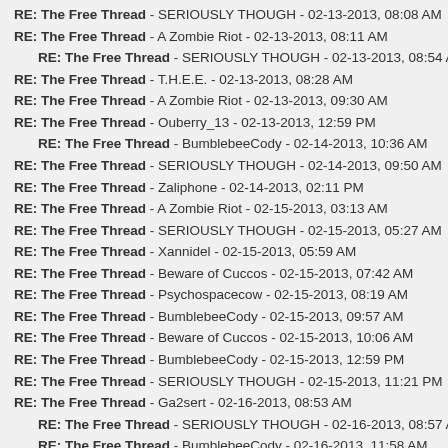RE: The Free Thread - SERIOUSLY THOUGH - 02-13-2013, 08:08 AM
RE: The Free Thread - A Zombie Riot - 02-13-2013, 08:11 AM
RE: The Free Thread - SERIOUSLY THOUGH - 02-13-2013, 08:54 AM
RE: The Free Thread - T.H.E.E. - 02-13-2013, 08:28 AM
RE: The Free Thread - A Zombie Riot - 02-13-2013, 09:30 AM
RE: The Free Thread - Ouberry_13 - 02-13-2013, 12:59 PM
RE: The Free Thread - BumblebeeCody - 02-14-2013, 10:36 AM
RE: The Free Thread - SERIOUSLY THOUGH - 02-14-2013, 09:50 AM
RE: The Free Thread - Zaliphone - 02-14-2013, 02:11 PM
RE: The Free Thread - A Zombie Riot - 02-15-2013, 03:13 AM
RE: The Free Thread - SERIOUSLY THOUGH - 02-15-2013, 05:27 AM
RE: The Free Thread - Xannidel - 02-15-2013, 05:59 AM
RE: The Free Thread - Beware of Cuccos - 02-15-2013, 07:42 AM
RE: The Free Thread - Psychospacecow - 02-15-2013, 08:19 AM
RE: The Free Thread - BumblebeeCody - 02-15-2013, 09:57 AM
RE: The Free Thread - Beware of Cuccos - 02-15-2013, 10:06 AM
RE: The Free Thread - BumblebeeCody - 02-15-2013, 12:59 PM
RE: The Free Thread - SERIOUSLY THOUGH - 02-15-2013, 11:21 PM
RE: The Free Thread - Ga2sert - 02-16-2013, 08:53 AM
RE: The Free Thread - SERIOUSLY THOUGH - 02-16-2013, 08:57 AM
RE: The Free Thread - BumblebeeCody - 02-16-2013, 11:58 AM
RE: The Free Thread - Ga2sert - 02-16-2013, 09:00 AM
RE: The Free Thread - Beware of Cuccos - 02-16-2013, 11:49 AM
RE: The Free Thread - SERIOUSLY THOUGH - 02-16-2013, 12:06 PM
RE: The Free Thread - Mass Distraction - 02-16-2013, 01:04 PM